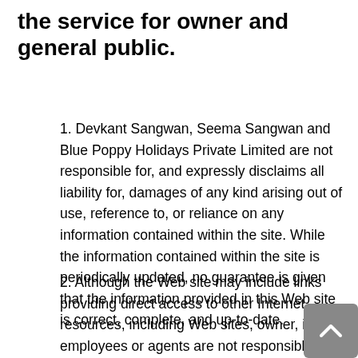the service for owner and general public.
1. Devkant Sangwan, Seema Sangwan and Blue Poppy Holidays Private Limited are not responsible for, and expressly disclaims all liability for, damages of any kind arising out of use, reference to, or reliance on any information contained within the site. While the information contained within the site is periodically updated, no guarantee is given that the information provided in this Web site is correct, complete, and up-to-date.
2. Although the Web site may include links providing direct access to other Internet resources, including Web sites, owner, its employees or agents are not responsible for